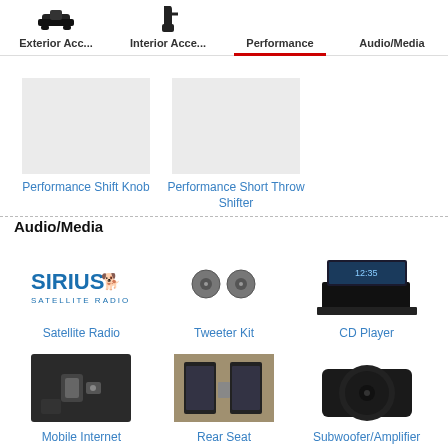Exterior Acc... | Interior Acce... | Performance | Audio/Media
[Figure (screenshot): Performance Shift Knob product image placeholder (gray box)]
Performance Shift Knob
[Figure (screenshot): Performance Short Throw Shifter product image placeholder (gray box)]
Performance Short Throw Shifter
Audio/Media
[Figure (photo): Sirius Satellite Radio logo]
Satellite Radio
[Figure (photo): Tweeter Kit - two small round speakers]
Tweeter Kit
[Figure (photo): CD Player - flip-up screen car stereo]
CD Player
[Figure (photo): Mobile Internet - USB port in car]
Mobile Internet
[Figure (photo): Rear Seat Entertainment - screens in headrests]
Rear Seat Entertainment
[Figure (photo): Subwoofer/Amplifier - flat black speaker]
Subwoofer/Amplifier